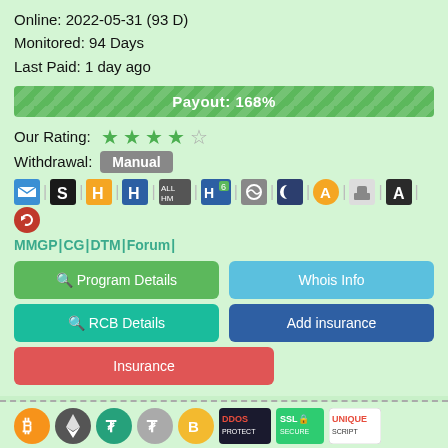Online: 2022-05-31 (93 D)
Monitored: 94 Days
Last Paid: 1 day ago
Payout: 168%
Our Rating: ★★★★☆
Withdrawal: Manual
MMGP|CG|DTM|Forum|
Program Details
Whois Info
RCB Details
Add insurance
Insurance
Investment Plans: 0.3% - 0.9% daily for 30 - 360 Calendar days (Principal Back)
Social networks and docs: